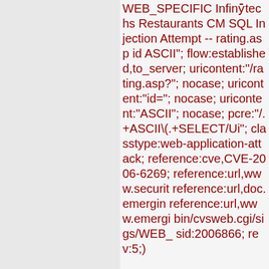WEB_SPECIFIC Infinytechs Restaurants CM SQL Injection Attempt -- rating.asp id ASCII"; flow:established,to_server; uricontent:"/rating.asp?"; nocase; uricontent:"id="; nocase; uricontent:"ASCII"; nocase; pcre:"/.+ASCII\(.+SELECT/Ui"; classtype:web-application-attack; reference:cve,CVE-2006-6269; reference:url,www.securit reference:url,doc.emergin reference:url,www.emergi bin/cvsweb.cgi/sigs/WEB_ sid:2006866; rev:5;)